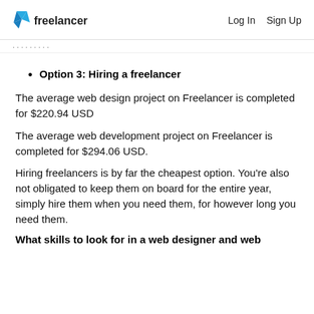Freelancer | Log In  Sign Up
Option 3: Hiring a freelancer
The average web design project on Freelancer is completed for $220.94 USD
The average web development project on Freelancer is completed for $294.06 USD.
Hiring freelancers is by far the cheapest option. You're also not obligated to keep them on board for the entire year, simply hire them when you need them, for however long you need them.
What skills to look for in a web designer and web